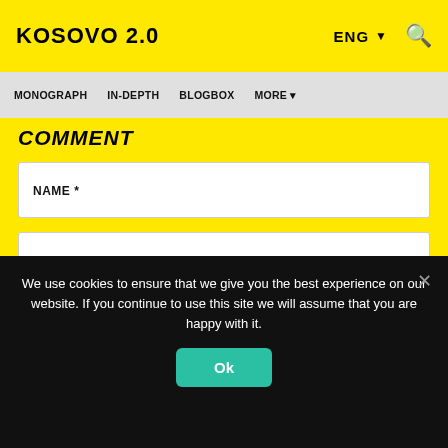KOSOVO 2.0
ENG ▾ 🔍
MONOGRAPH   IN-DEPTH   BLOGBOX   MORE ▾
COMMENT
NAME *
EMAIL *
We use cookies to ensure that we give you the best experience on our website. If you continue to use this site we will assume that you are happy with it.
Ok